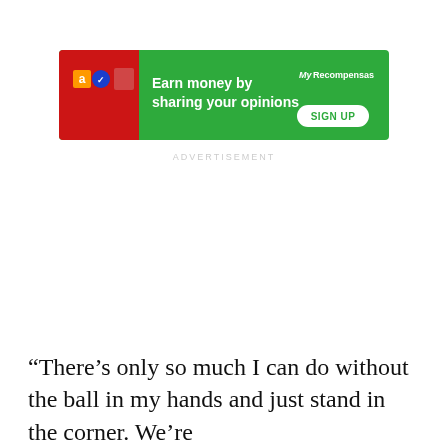[Figure (infographic): Green advertisement banner reading 'Earn money by sharing your opinions' with Amazon logo, blue checkmark icon, MyRecompensas branding, and a SIGN UP button.]
ADVERTISEMENT
“There’s only so much I can do without the ball in my hands and just stand in the corner. We’re